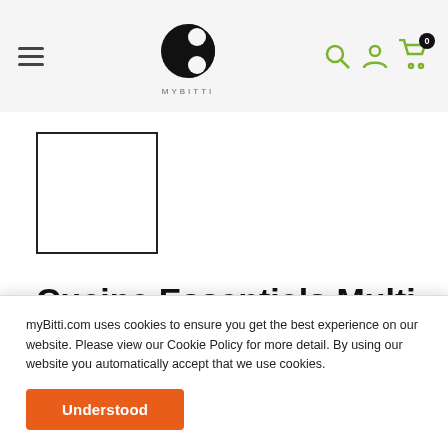MyBitti – Navigation header with logo, search, account, and cart icons
[Figure (photo): Product image placeholder – white square with black border]
Cucina Essentials Multi-Purpose Wipes
Free Shipping Within USA
myBitti.com uses cookies to ensure you get the best experience on our website. Please view our Cookie Policy for more detail. By using our website you automatically accept that we use cookies.
Understood
Price: $19.99 USD